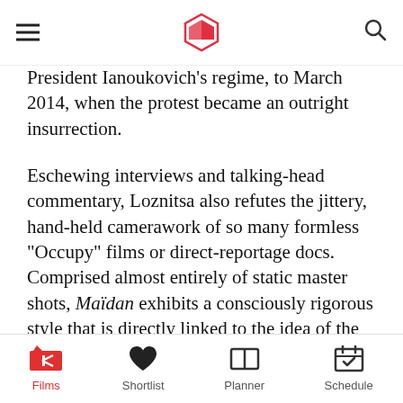≡ [logo] 🔍
President Ianoukovich's regime, to March 2014, when the protest became an outright insurrection.

Eschewing interviews and talking-head commentary, Loznitsa also refutes the jittery, hand-held camerawork of so many formless "Occupy" films or direct-reportage docs. Comprised almost entirely of static master shots, Maïdan exhibits a consciously rigorous style that is directly linked to the idea of the masses. In a bold and controversial move, Loznitsa rises above political complexities to observe the nature of the civil uprising as a social, cultural, and philosophical phenomenon, chronicling the sheer mechanics and vigour of human movement and
Films  Shortlist  Planner  Schedule